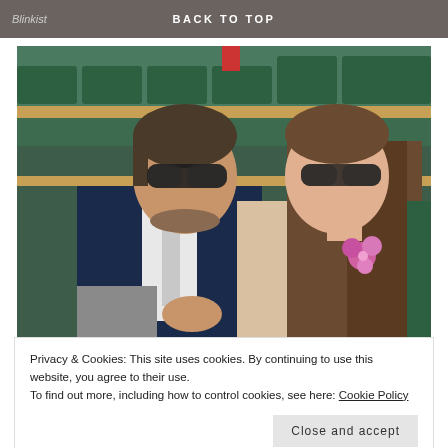BACK TO TOP
[Figure (photo): Two people sitting in what appears to be Wimbledon stadium seating. On the left, an older man in a navy blue suit with a grey tie and sunglasses. On the right, a young woman with long brown hair wearing a beige lace outfit and sunglasses, with a pink flower accessory. The background shows green stadium seats.]
Privacy & Cookies: This site uses cookies. By continuing to use this website, you agree to their use.
To find out more, including how to control cookies, see here: Cookie Policy
Close and accept